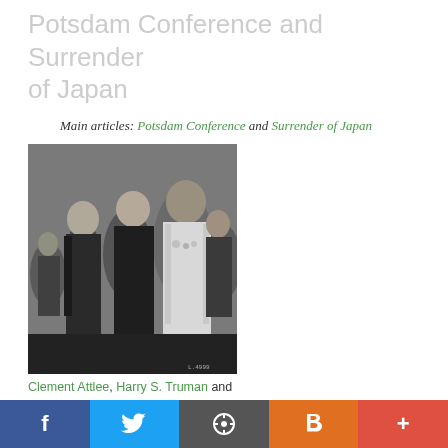Potsdam Conference and Surrender of Japan
Main articles: Potsdam Conference and Surrender of Japan
[Figure (photo): Black and white photograph of Clement Attlee, Harry S. Truman, and Joseph Stalin standing together at the Potsdam Conference, 1945]
Clement Attlee, Harry S. Truman and Joseph Stalin at the Potsdam Conference, 1945
At the Potsdam Conference, which started in late July after Germany's surrender, serious differences emerged over the future development of Germany and the rest of Central and Eastern Europe. [43] The Soviets pressed their demand made at Yalta, for $20 billion of reparations to be
f  Twitter  WordPress  Blogger  +